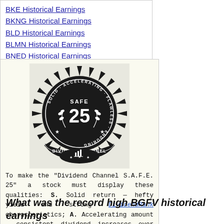BKE Historical Earnings
BKNG Historical Earnings
BLD Historical Earnings
BLMN Historical Earnings
BNED Historical Earnings
[Figure (logo): Dividend Channel S.A.F.E. 25 badge/seal — circular dark emblem with starburst border, text reading SOLID · ACCELERATING · FLAWLESS · ENDURING around the outer ring, SAFE in the middle, 25 below it, DIVIDEND CHANNEL on a banner at the bottom, with wheat sprigs and stars]
To make the "Dividend Channel S.A.F.E. 25" a stock must display these qualities: S. Solid return — hefty yield and strong DividendRank characteristics; A. Accelerating amount — consistent dividend increases over time; F. Flawless history — never a missed or lowered dividend; E. Enduring — at least two decades of dividend payments.
Start slideshow: Top 25 S.A.F.E. Dividend Stocks
What was the record high BGFV historical earnings